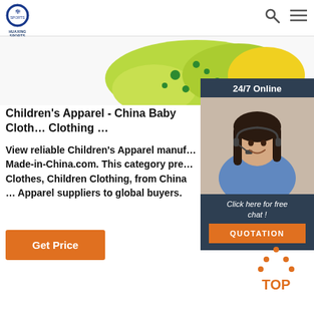[Figure (logo): Huaxing Sports logo — circular emblem with blue and white design, text HUAXING SPORTS below]
[Figure (photo): Partial view of green children's clothing item with polka dot pattern on white background]
[Figure (photo): Advertisement panel: 24/7 Online banner, photo of woman with headset smiling, Click here for free chat text, QUOTATION button]
Children's Apparel - China Baby Clothing Clothing ...
View reliable Children's Apparel manufacturers on Made-in-China.com. This category presents Baby Clothes, Children Clothing, from China Children's Apparel suppliers to global buyers.
[Figure (other): Get Price orange button]
[Figure (other): TOP navigation icon in orange with dot pattern above the text]